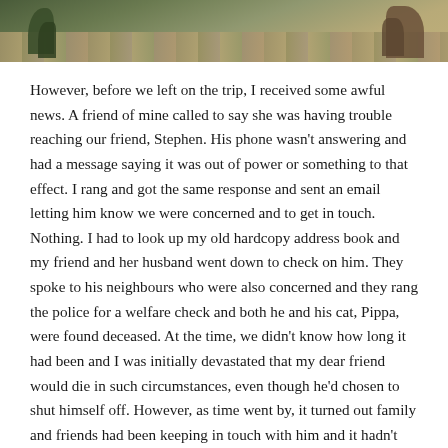[Figure (photo): Photograph of a stone patio or path with green plants and shrubs on the sides, viewed from above at a slight angle. The paving stones are irregular flagstones in grey-brown tones.]
However, before we left on the trip, I received some awful news. A friend of mine called to say she was having trouble reaching our friend, Stephen. His phone wasn't answering and had a message saying it was out of power or something to that effect. I rang and got the same response and sent an email letting him know we were concerned and to get in touch. Nothing. I had to look up my old hardcopy address book and my friend and her husband went down to check on him. They spoke to his neighbours who were also concerned and they rang the police for a welfare check and both he and his cat, Pippa, were found deceased. At the time, we didn't know how long it had been and I was initially devastated that my dear friend would die in such circumstances, even though he'd chosen to shut himself off. However, as time went by, it turned out family and friends had been keeping in touch with him and it hadn't been that long. Well, it's kind of inevitable